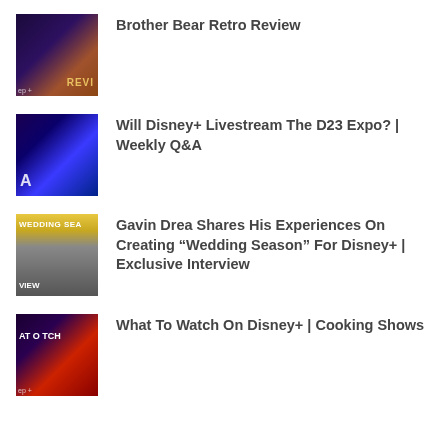Brother Bear Retro Review
Will Disney+ Livestream The D23 Expo? | Weekly Q&A
Gavin Drea Shares His Experiences On Creating “Wedding Season” For Disney+ | Exclusive Interview
What To Watch On Disney+ | Cooking Shows